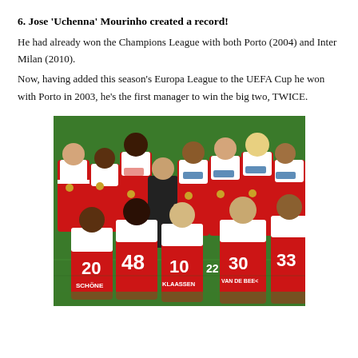6. Jose 'Uchenna' Mourinho created a record!
He had already won the Champions League with both Porto (2004) and Inter Milan (2010).
Now, having added this season's Europa League to the UEFA Cup he won with Porto in 2003, he's the first manager to win the big two, TWICE.
[Figure (photo): A group of Ajax football players in red and white jerseys with their squad numbers (20 Schöne, 48, 10 Klaassen, 22, 30 Van de Beek, 33) posing on a pitch, with a man in a dark suit (Jose Mourinho) shaking hands among them after a match, likely a UEFA Europa League final.]